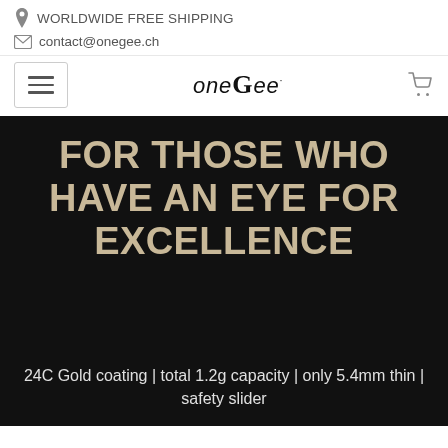WORLDWIDE FREE SHIPPING
contact@onegee.ch
[Figure (logo): oneGEE brand logo with stylized mixed-case lettering]
FOR THOSE WHO HAVE AN EYE FOR EXCELLENCE
24C Gold coating | total 1.2g capacity | only 5.4mm thin | safety slider